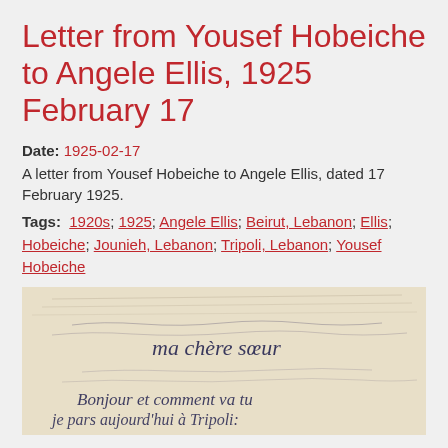Letter from Yousef Hobeiche to Angele Ellis, 1925 February 17
Date: 1925-02-17
A letter from Yousef Hobeiche to Angele Ellis, dated 17 February 1925.
Tags: 1920s; 1925; Angele Ellis; Beirut, Lebanon; Ellis; Hobeiche; Jounieh, Lebanon; Tripoli, Lebanon; Yousef Hobeiche
[Figure (photo): Photograph of a handwritten letter in French cursive script, showing text beginning with 'ma chère sœur' and 'Bonjour et comment va tu je pars aujourd'hui à Tripoli']